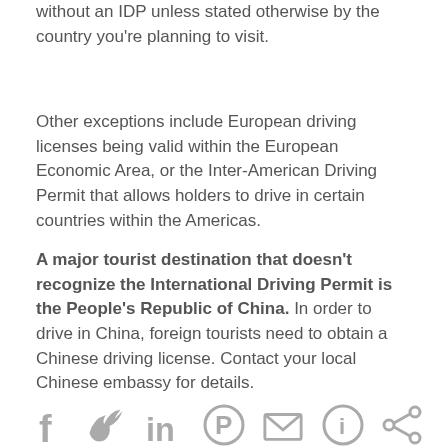without an IDP unless stated otherwise by the country you're planning to visit.
Other exceptions include European driving licenses being valid within the European Economic Area, or the Inter-American Driving Permit that allows holders to drive in certain countries within the Americas.
A major tourist destination that doesn't recognize the International Driving Permit is the People's Republic of China. In order to drive in China, foreign tourists need to obtain a Chinese driving license. Contact your local Chinese embassy for details.
[Figure (other): Social media sharing icons: Facebook, Twitter, LinkedIn, Pinterest, Email, unknown, share]